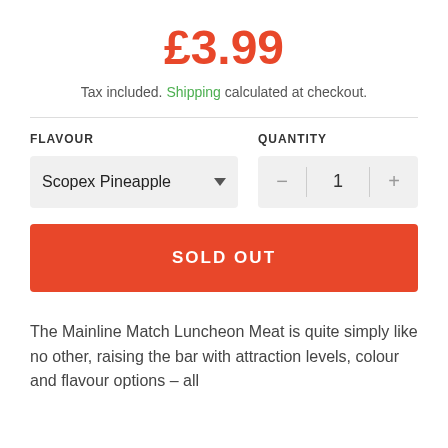£3.99
Tax included. Shipping calculated at checkout.
FLAVOUR
QUANTITY
Scopex Pineapple
− 1 +
SOLD OUT
The Mainline Match Luncheon Meat is quite simply like no other, raising the bar with attraction levels, colour and flavour options – all